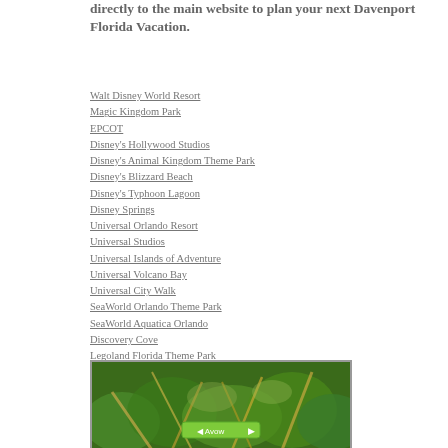directly to the main website to plan your next Davenport Florida Vacation.
Walt Disney World Resort
Magic Kingdom Park
EPCOT
Disney's Hollywood Studios
Disney's Animal Kingdom Theme Park
Disney's Blizzard Beach
Disney's Typhoon Lagoon
Disney Springs
Universal Orlando Resort
Universal Studios
Universal Islands of Adventure
Universal Volcano Bay
Universal City Walk
SeaWorld Orlando Theme Park
SeaWorld Aquatica Orlando
Discovery Cove
Legoland Florida Theme Park
Peppa Pig Theme Park
Bush Gardens - Tampa
[Figure (photo): Photo of tropical/jungle vegetation with green foliage and palm-like plants, with a green button overlay]